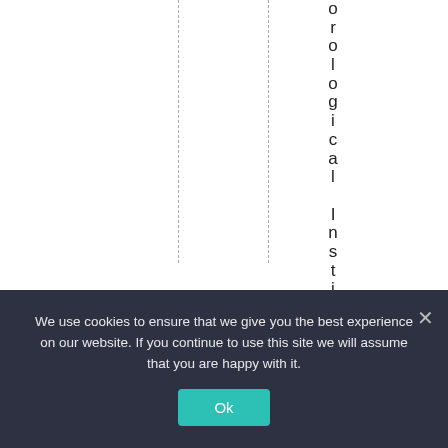orological Institut
We use cookies to ensure that we give you the best experience on our website. If you continue to use this site we will assume that you are happy with it.